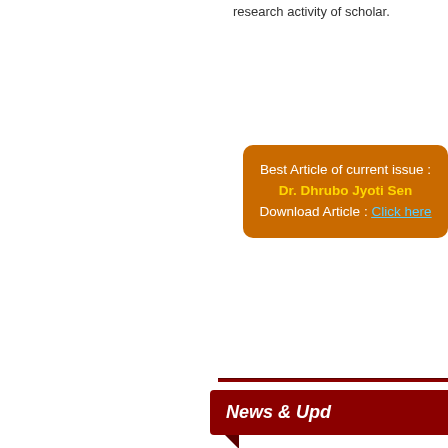research activity of scholar.
Best Article of current issue :
Dr. Dhrubo Jyoti Sen
Download Article : Click here
News & Upd